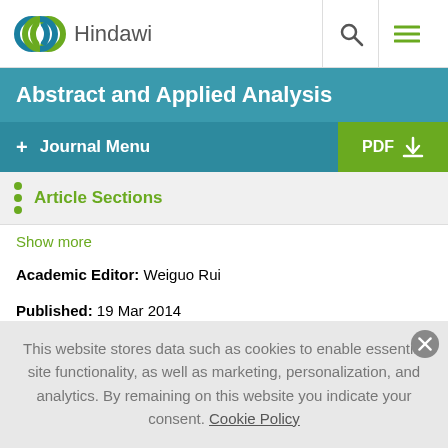[Figure (logo): Hindawi logo with two interlocking rings (teal and green) and 'Hindawi' text]
Abstract and Applied Analysis
+ Journal Menu
Article Sections
Show more
Academic Editor: Weiguo Rui
Published: 19 Mar 2014
This website stores data such as cookies to enable essential site functionality, as well as marketing, personalization, and analytics. By remaining on this website you indicate your consent. Cookie Policy